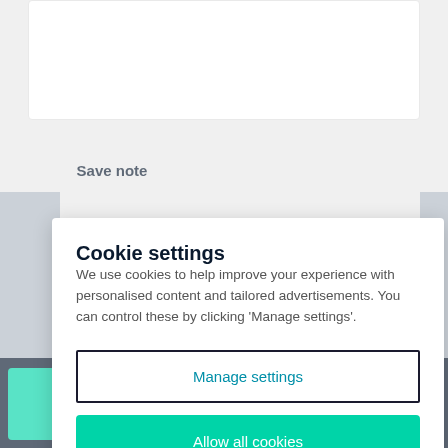Save note
Cookie settings
We use cookies to help improve your experience with personalised content and tailored advertisements. You can control these by clicking 'Manage settings'.
Manage settings
Allow all cookies
Email agent
Call agent